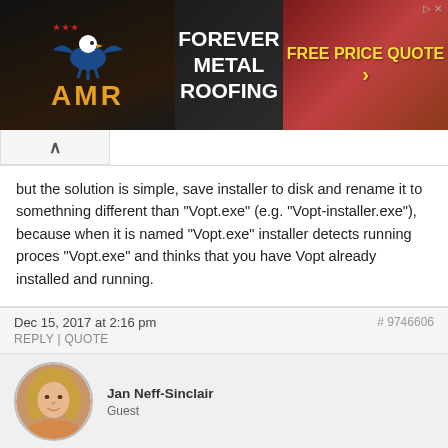[Figure (other): Advertisement banner for Forever Metal Roofing with AMR eagle logo, 'FREE PRICE QUOTE' call to action button]
but the solution is simple, save installer to disk and rename it to somethning different than “Vopt.exe” (e.g. “Vopt-installer.exe”), because when it is named “Vopt.exe” installer detects running proces “Vopt.exe” and thinks that you have Vopt already installed and running.
Dec 15, 2017 at 2:16 pm
REPLY | QUOTE
#9746606
Jan Neff-Sinclair
Guest
[Figure (photo): Circular avatar photo of a woman with blonde hair]
What a big hassle!!! It’s usually GiveAwayOFTheDay that has things that don’t work. I expect better from this site. Disappointing.